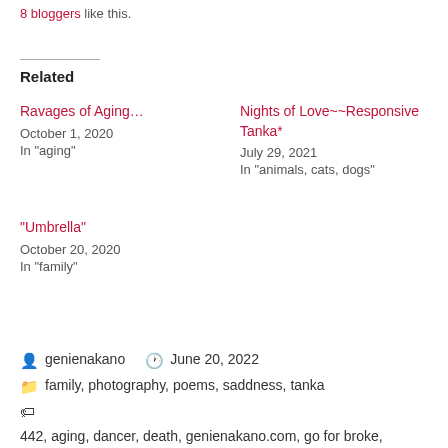8 bloggers like this.
Related
Ravages of Aging…
October 1, 2020
In "aging"
Nights of Love~~Responsive Tanka*
July 29, 2021
In "animals, cats, dogs"
"Umbrella"
October 20, 2020
In "family"
genienakano   June 20, 2022
family, photography, poems, saddness, tanka
442, aging, dancer, death, genienakano.com, go for broke, japanese culture, photography, poetry, Sansei, tanka